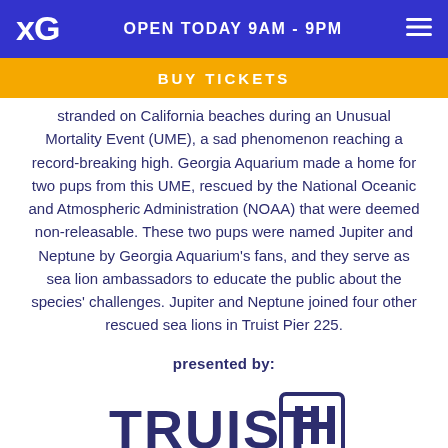OPEN TODAY 9AM - 9PM
BUY TICKETS
stranded on California beaches during an Unusual Mortality Event (UME), a sad phenomenon reaching a record-breaking high. Georgia Aquarium made a home for two pups from this UME, rescued by the National Oceanic and Atmospheric Administration (NOAA) that were deemed non-releasable. These two pups were named Jupiter and Neptune by Georgia Aquarium's fans, and they serve as sea lion ambassadors to educate the public about the species' challenges. Jupiter and Neptune joined four other rescued sea lions in Truist Pier 225.
presented by:
[Figure (logo): Truist bank logo with text TRUIST and the Truist diamond HH symbol]